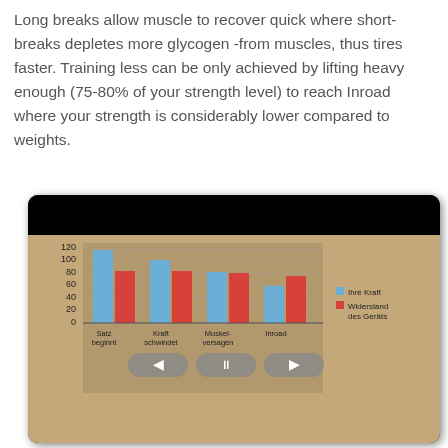Long breaks allow muscle to recover quick where short-breaks depletes more glycogen -from muscles, thus tires faster. Training less can be only achieved by lifting heavy enough (75-80% of your strength level) to reach Inroad where your strength is considerably lower compared to weights.
[Figure (grouped-bar-chart): ]